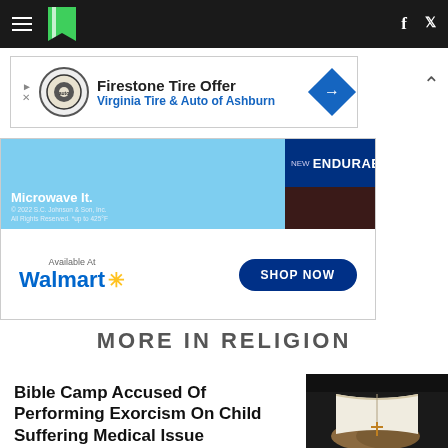HuffPost navigation bar with logo, hamburger menu, Facebook and Twitter icons
[Figure (advertisement): Firestone Tire Offer - Virginia Tire & Auto of Ashburn advertisement banner]
[Figure (advertisement): SC Johnson Endurables product ad - Microwave it. New Endurables. Available At Walmart. Shop Now.]
MORE IN RELIGION
Bible Camp Accused Of Performing Exorcism On Child Suffering Medical Issue
[Figure (photo): Person holding open Bible with cross necklace visible]